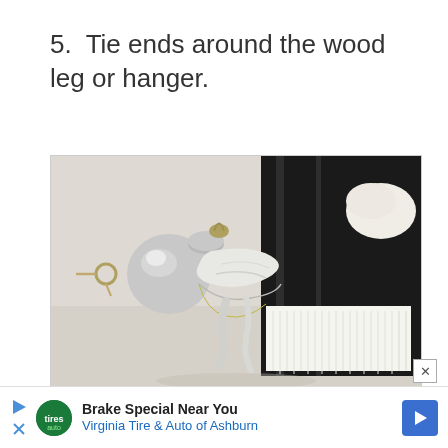5.  Tie ends around the wood leg or hanger.
[Figure (photo): Close-up photo of a decorative tassel with silver/white cord tied around a silver ornamental finial or curtain pole end, with black fabric and white fringe visible in the background.]
Brake Special Near You
Virginia Tire & Auto of Ashburn